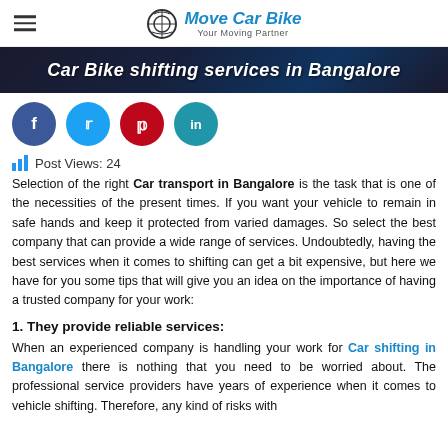Move Car Bike – Your Moving Partner
[Figure (photo): Banner image with text: Car Bike shifting services in Bangalore]
[Figure (infographic): Social media share buttons: Facebook, Twitter, Pinterest, LinkedIn]
Post Views: 24
Selection of the right Car transport in Bangalore is the task that is one of the necessities of the present times. If you want your vehicle to remain in safe hands and keep it protected from varied damages. So select the best company that can provide a wide range of services. Undoubtedly, having the best services when it comes to shifting can get a bit expensive, but here we have for you some tips that will give you an idea on the importance of having a trusted company for your work:
1. They provide reliable services:
When an experienced company is handling your work for Car shifting in Bangalore there is nothing that you need to be worried about. The professional service providers have years of experience when it comes to vehicle shifting. Therefore, any kind of risks with